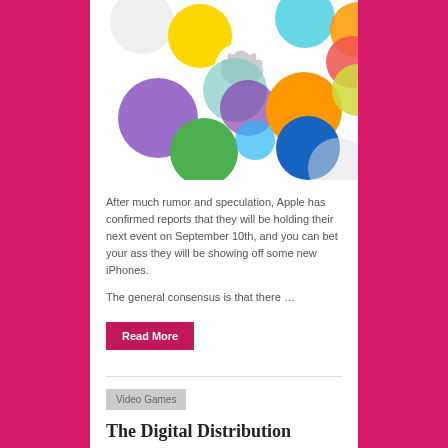[Figure (illustration): Apple event invitation graphic with colorful overlapping circles and Apple logo on white background]
After much rumor and speculation, Apple has confirmed reports that they will be holding their next event on September 10th, and you can bet your ass they will be showing off some new iPhones.
The general consensus is that there …
Read More
Video Games
The Digital Distribution Dilemma
August 5, 2013  |  Dionicios
[Figure (screenshot): Dark screenshot showing 'Update Required' notification dialog]